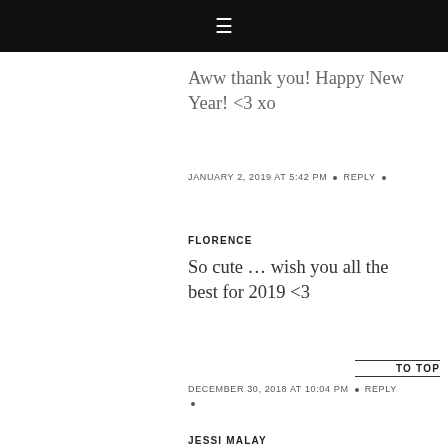≡
Aww thank you! Happy New Year! <3 xo
JANUARY 2, 2019 AT 5:42 PM • REPLY •
FLORENCE
So cute … wish you all the best for 2019 <3
DECEMBER 30, 2018 AT 10:04 PM • REPLY •
TO TOP
JESSI MALAY